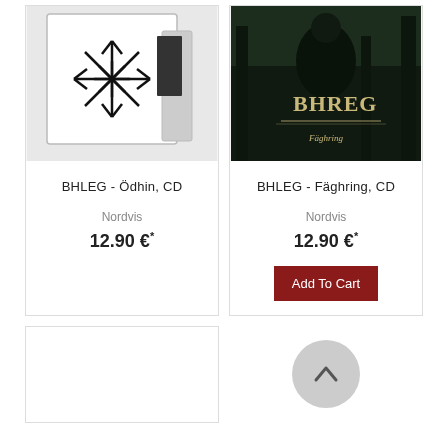[Figure (photo): BHLEG - Ödhin CD album cover showing snowflake/rune symbol on white case]
BHLEG - Ödhin, CD
Nordvis
12.90 €*
[Figure (photo): BHLEG - Fäghring CD album cover showing person in forest with album title in runic style text]
BHLEG - Fäghring, CD
Nordvis
12.90 €*
Add To Cart
[Figure (photo): BHLEG album cover showing BHREG text with decorative border and fiery hair figure]
[Figure (illustration): Scroll to top arrow button circle]